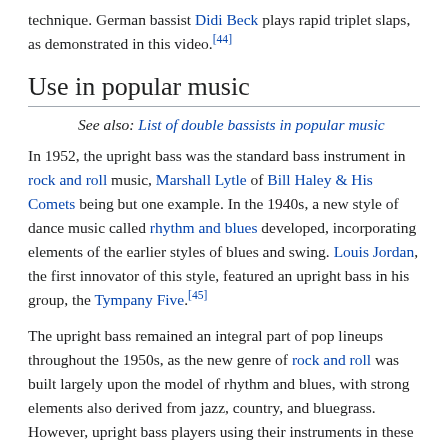technique. German bassist Didi Beck plays rapid triplet slaps, as demonstrated in this video.[44]
Use in popular music
See also: List of double bassists in popular music
In 1952, the upright bass was the standard bass instrument in rock and roll music, Marshall Lytle of Bill Haley & His Comets being but one example. In the 1940s, a new style of dance music called rhythm and blues developed, incorporating elements of the earlier styles of blues and swing. Louis Jordan, the first innovator of this style, featured an upright bass in his group, the Tympany Five.[45]
The upright bass remained an integral part of pop lineups throughout the 1950s, as the new genre of rock and roll was built largely upon the model of rhythm and blues, with strong elements also derived from jazz, country, and bluegrass. However, upright bass players using their instruments in these contexts faced inherent problems. They were forced to compete with louder horn instruments (and later amplified electric guitars), making bass parts difficult to hear. The upright bass is difficult to amplify in loud